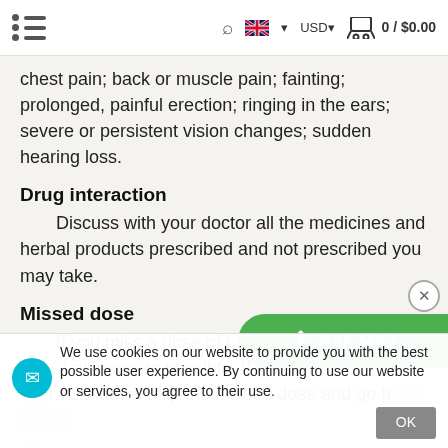0 / $0.00
chest pain; back or muscle pain; fainting; prolonged, painful erection; ringing in the ears; severe or persistent vision changes; sudden hearing loss.
Drug interaction
Discuss with your doctor all the medicines and herbal products prescribed and not prescribed you may take.
Missed dose
If you miss a dose of Levitra Professional, take it as soon as possible. If it is almost time for your next dose, skip the missed dose and go back to your regular dosing schedule. Do not double the dose.
We use cookies on our website to provide you with the best possible user experience. By continuing to use our website or services, you agree to their use.